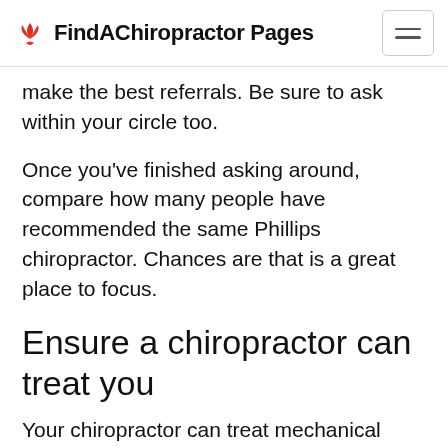FindAChiropractor Pages
make the best referrals. Be sure to ask within your circle too.
Once you've finished asking around, compare how many people have recommended the same Phillips chiropractor. Chances are that is a great place to focus.
Ensure a chiropractor can treat you
Your chiropractor can treat mechanical issues musculoskeletal system. However, your Phillips chiropractor can't treat all associated pain with these areas. Severe arthritis,